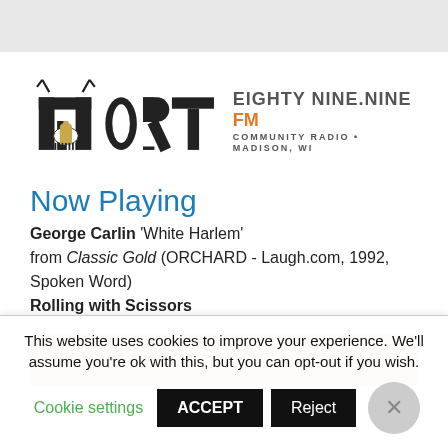[Figure (logo): WORT 89.9 FM Community Radio Madison WI logo with stylized capitol building and lightning bolt antenna]
Now Playing
George Carlin 'White Harlem'
from Classic Gold (ORCHARD - Laugh.com, 1992, Spoken Word)
Rolling with Scissors
[Figure (other): Orange Donate button]
This website uses cookies to improve your experience. We'll assume you're ok with this, but you can opt-out if you wish.
Cookie settings  ACCEPT  Reject